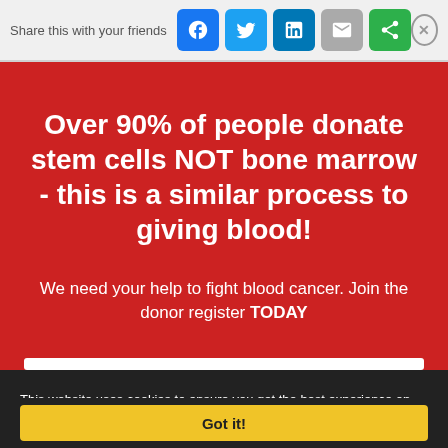Share this with your friends
Over 90% of people donate stem cells NOT bone marrow - this is a similar process to giving blood!
We need your help to fight blood cancer. Join the donor register TODAY
This website uses cookies to ensure you get the best experience on our website More info
Got it!